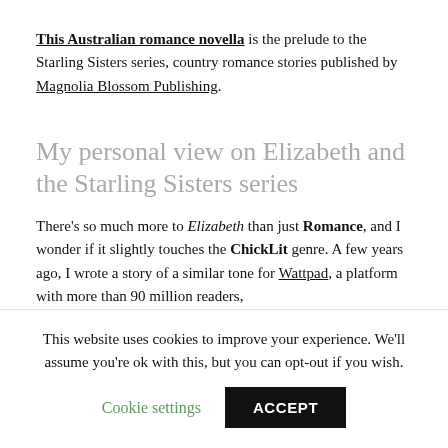This Australian romance novella is the prelude to the Starling Sisters series, country romance stories published by Magnolia Blossom Publishing.
My personal view on Elizabeth and the Starling Sisters series
There's so much more to Elizabeth than just Romance, and I wonder if it slightly touches the ChickLit genre. A few years ago, I wrote a story of a similar tone for Wattpad, a platform with more than 90 million readers, and my story was handpicked to be part of the platform's
This website uses cookies to improve your experience. We'll assume you're ok with this, but you can opt-out if you wish.